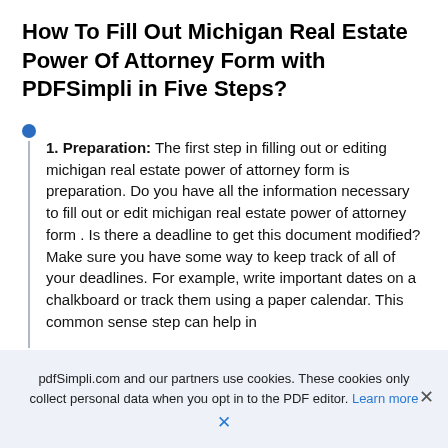How To Fill Out Michigan Real Estate Power Of Attorney Form with PDFSimpli in Five Steps?
1. Preparation: The first step in filling out or editing michigan real estate power of attorney form is preparation. Do you have all the information necessary to fill out or edit michigan real estate power of attorney form . Is there a deadline to get this document modified? Make sure you have some way to keep track of all of your deadlines. For example, write important dates on a chalkboard or track them using a paper calendar. This common sense step can help in
pdfSimpli.com and our partners use cookies. These cookies only collect personal data when you opt in to the PDF editor. Learn more